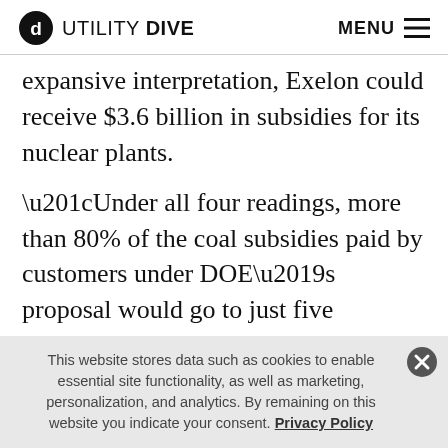UTILITY DIVE   MENU
expansive interpretation, Exelon could receive $3.6 billion in subsidies for its nuclear plants.
“Under all four readings, more than 80% of the coal subsidies paid by customers under DOE’s proposal would go to just five companies,” Energy Innovation concluded. “The group of owners benefiting from the increased payments to nuclear generators is even smaller.”
This website stores data such as cookies to enable essential site functionality, as well as marketing, personalization, and analytics. By remaining on this website you indicate your consent. Privacy Policy